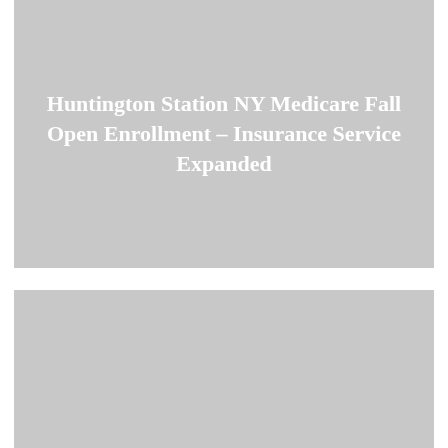[Figure (photo): Gray placeholder image for article header]
Huntington Station NY Medicare Fall Open Enrollment – Insurance Service Expanded
[Figure (photo): Gray placeholder image below the title section, with a white scroll-to-top button in the lower right corner]